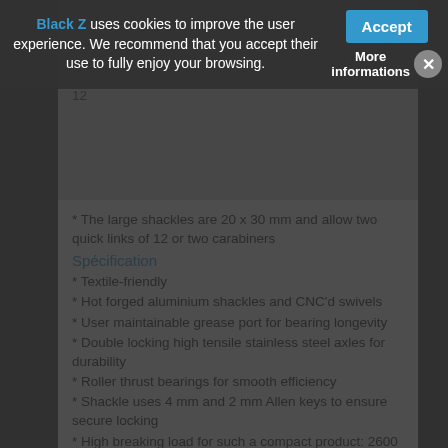The rings without rubber are Ø16 mm and allow a...
...and allow a quick link...
The small shackles are Ø16 mm and allow a quick link of 12
* The large shackles are 20 x 30 mm and allow two quick links of 12 or two carabiners
Spécification
* Textile-friendly
* Hot forged aluminium shackles and CNC'd swivels
* User maintainable grease port for bearing longevity
* Double locking high tensile stainless steel axles for durability
* Roller thrust bearings for smooth efficiency
* Shackle uses 4 mm and 2 mm Allen keys to ensure secure locking
* High breaking load for such a compact product: 2600 kg
* Excellent rotation up to loads of 300 kg
* weight : 103 g
* MBS : 26 kN
* WII : 3 kN
Product Family Range
Mini B Ro SW09...